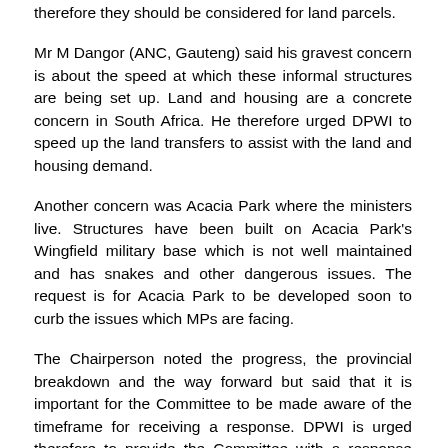therefore they should be considered for land parcels.
Mr M Dangor (ANC, Gauteng) said his gravest concern is about the speed at which these informal structures are being set up. Land and housing are a concrete concern in South Africa. He therefore urged DPWI to speed up the land transfers to assist with the land and housing demand.
Another concern was Acacia Park where the ministers live. Structures have been built on Acacia Park's Wingfield military base which is not well maintained and has snakes and other dangerous issues. The request is for Acacia Park to be developed soon to curb the issues which MPs are facing.
The Chairperson noted the progress, the provincial breakdown and the way forward but said that it is important for the Committee to be made aware of the timeframe for receiving a response. DPWI is urged therefore to provide the Committee with a response that contains a breakdown of the land parcels per district in the next seven days.
The Chairperson raised a concern about the state communal land regime under the watchful eye of traditional leaders. The